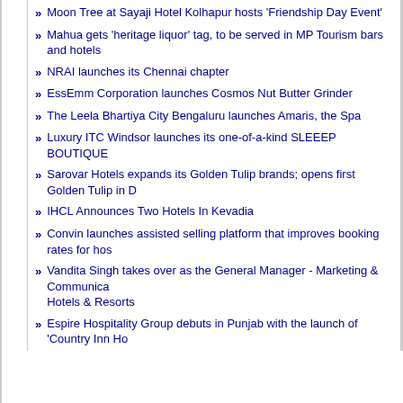Moon Tree at Sayaji Hotel Kolhapur hosts 'Friendship Day Event'
Mahua gets 'heritage liquor' tag, to be served in MP Tourism bars and hotels
NRAI launches its Chennai chapter
EssEmm Corporation launches Cosmos Nut Butter Grinder
The Leela Bhartiya City Bengaluru launches Amaris, the Spa
Luxury ITC Windsor launches its one-of-a-kind SLEEEP BOUTIQUE
Sarovar Hotels expands its Golden Tulip brands; opens first Golden Tulip in D
IHCL Announces Two Hotels In Kevadia
Convin launches assisted selling platform that improves booking rates for hos
Vandita Singh takes over as the General Manager - Marketing & Communica Hotels & Resorts
Espire Hospitality Group debuts in Punjab with the launch of 'Country Inn Ho branded hotel in Amritsar
Four Seasons Maldives Landaa Giravaru launches Om Supti Night Spa Ritu
Starbucks' launches limited-edition seasonal offerings curated specially for m